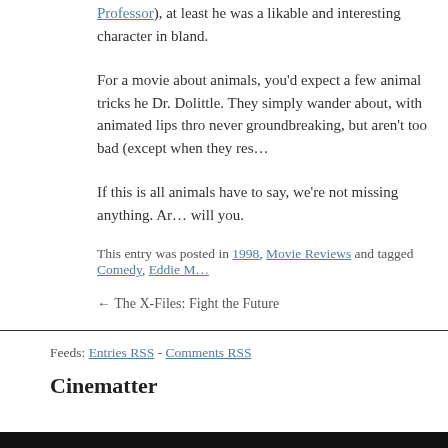Professor), at least he was a likable and interesting character in … bland.
For a movie about animals, you'd expect a few animal tricks he… Dr. Dolittle. They simply wander about, with animated lips thro… never groundbreaking, but aren't too bad (except when they res…
If this is all animals have to say, we're not missing anything. Ar… will you.
This entry was posted in 1998, Movie Reviews and tagged Comedy, Eddie M…
← The X-Files: Fight the Future
Feeds: Entries RSS - Comments RSS
Cinematter